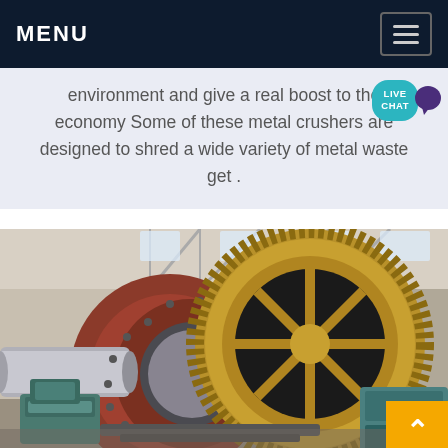MENU
environment and give a real boost to the economy Some of these metal crushers are designed to shred a wide variety of metal waste get .
[Figure (photo): Industrial ball mill machinery with large gear ring and cylindrical drum in a factory/warehouse setting. Heavy industrial grinding equipment with teal-colored motor units visible.]